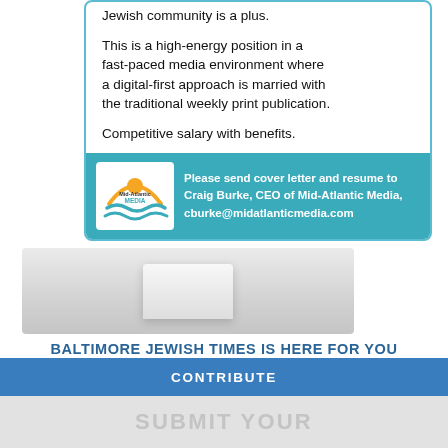Jewish community is a plus.
This is a high-energy position in a fast-paced media environment where a digital-first approach is married with the traditional weekly print publication.
Competitive salary with benefits.
Please send cover letter and resume to Craig Burke, CEO of Mid-Atlantic Media, cburke@midatlanticmedia.com
[Figure (photo): A white electronic device on a light gray background]
BALTIMORE JEWISH TIMES IS HERE FOR YOU
Your voluntary contribution supports our efforts to deliver content that engages and helps strengthen the Jewish community in the greater Baltimore area.
CONTRIBUTE